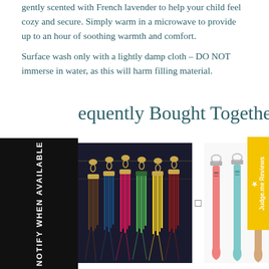gently scented with French lavender to help your child feel cozy and secure. Simply warm in a microwave to provide up to an hour of soothing warmth and comfort.
Surface wash only with a lightly damp cloth – DO NOT immerse in water, as this will harm filling material.
Frequently Bought Together
[Figure (photo): Black banner with white vertical text reading NOTIFY WHEN AVAILABLE]
[Figure (photo): Photo of colorful leather tassel keychains hanging on a rack with gold hardware]
[Figure (photo): Photo of colorful wrist strap lanyards in pink, mint, tan, silver, and rose gold colors]
[Figure (other): Yellow vertical tab on right side with star icon and text Judge.me Reviews]